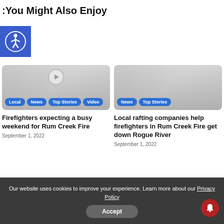You Might Also Enjoy
[Figure (logo): Accessibility icon — white person with circle on blue background]
[Figure (screenshot): Article thumbnail with tags: Local, News, Top Stories, Video]
Firefighters expecting a busy weekend for Rum Creek Fire
September 1, 2022
[Figure (screenshot): Article thumbnail with tags: News, Top Stories]
Local rafting companies help firefighters in Rum Creek Fire get down Rogue River
September 1, 2022
Our website uses cookies to improve your experience. Learn more about our Privacy Policy
Accept